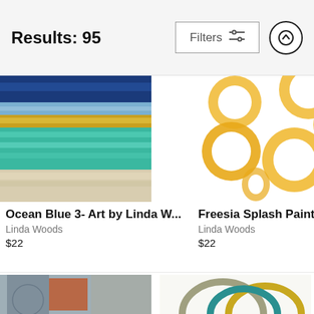Results: 95
[Figure (photo): Abstract ocean painting with horizontal bands of blue, teal, gold and sandy tones — Ocean Blue 3 by Linda Woods]
Ocean Blue 3- Art by Linda W...
Linda Woods
$22
[Figure (photo): Abstract painting of overlapping golden/yellow circular ring shapes on white background — Freesia Splash Painting by Linda Woods]
Freesia Splash Painting
Linda Woods
$22
[Figure (photo): Partially visible abstract painting with muted blues, grays, and an orange rectangular form]
[Figure (photo): Partially visible abstract painting with overlapping oval/ring shapes in gray, olive, and teal]